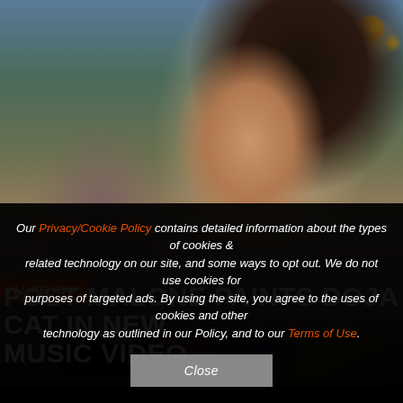[Figure (photo): Music video still showing two people lying on grass. A woman with long dark hair, smiling, wearing a colorful geometric patterned dress and gold necklace, and a man with sunglasses wearing casual clothing. Yellow flowers visible in background top right corner.]
'I LIKE YOU'
POST MALONE PAINTS DOJA CAT IN NEW MUSIC VIDEO
Our Privacy/Cookie Policy contains detailed information about the types of cookies & related technology on our site, and some ways to opt out. We do not use cookies for purposes of targeted ads. By using the site, you agree to the uses of cookies and other technology as outlined in our Policy, and to our Terms of Use.
Close